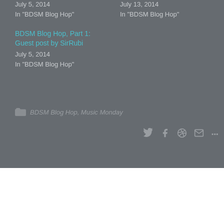July 5, 2014
In "BDSM Blog Hop"
July 13, 2014
In "BDSM Blog Hop"
BDSM Blog Hop, Part 1: Guest post by SirRubi
July 5, 2014
In "BDSM Blog Hop"
BDSM Blog Hop, Music Monday
This website uses cookies to improve your experience. We'll assume you're ok with this, but you can opt-out if you wish.
Accept  Read More